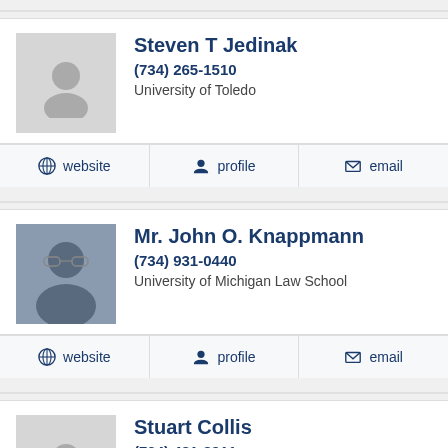Steven T Jedinak
(734) 265-1510
University of Toledo
website  profile  email
Mr. John O. Knappmann
(734) 931-0440
University of Michigan Law School
website  profile  email
Stuart Collis
(734) 481-8911
Western Michigan University Graduate School